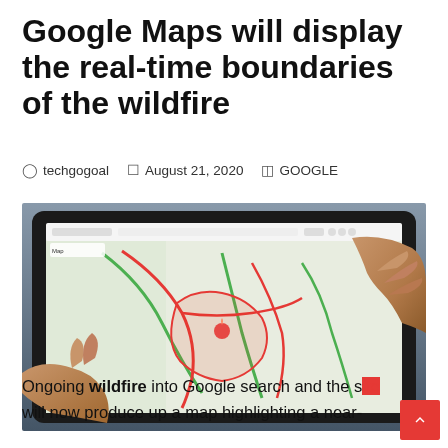Google Maps will display the real-time boundaries of the wildfire
techgogoal   August 21, 2020   GOOGLE
[Figure (photo): Photo of hands holding a tablet showing Google Maps with wildfire boundaries highlighted in red on a map]
Ongoing wildfire into Google search and the site will now produce up a map highlighting a near-